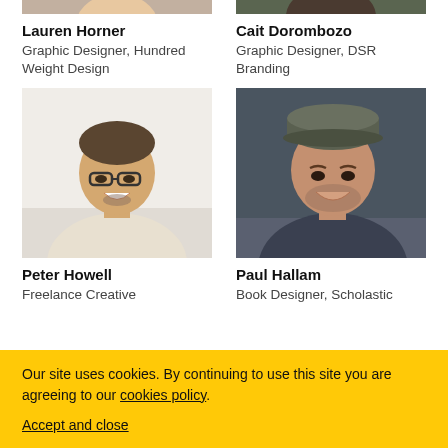[Figure (photo): Portrait photo of Lauren Horner, partial view cropped at top]
[Figure (photo): Portrait photo of Cait Dorombozo, partial view cropped at top]
Lauren Horner
Graphic Designer, Hundred Weight Design
Cait Dorombozo
Graphic Designer, DSR Branding
[Figure (photo): Portrait photo of Peter Howell, man with glasses smiling]
[Figure (photo): Portrait photo of Paul Hallam, man with grey cap smiling]
Peter Howell
Freelance Creative
Paul Hallam
Book Designer, Scholastic
Our site uses cookies. By continuing to use this site you are agreeing to our cookies policy.
Accept and close